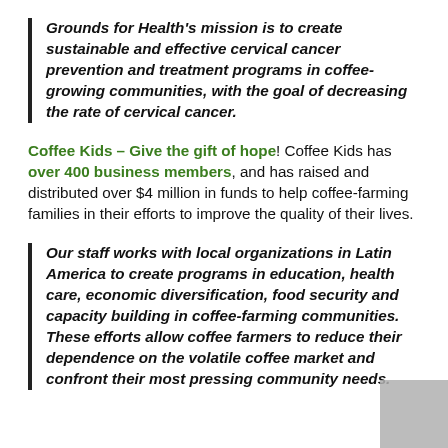Grounds for Health's mission is to create sustainable and effective cervical cancer prevention and treatment programs in coffee-growing communities, with the goal of decreasing the rate of cervical cancer.
Coffee Kids – Give the gift of hope! Coffee Kids has over 400 business members, and has raised and distributed over $4 million in funds to help coffee-farming families in their efforts to improve the quality of their lives.
Our staff works with local organizations in Latin America to create programs in education, health care, economic diversification, food security and capacity building in coffee-farming communities. These efforts allow coffee farmers to reduce their dependence on the volatile coffee market and confront their most pressing community needs.